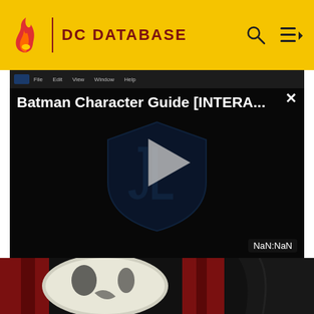DC DATABASE
[Figure (screenshot): Video player showing 'Batman Character Guide [INTERA...' with a Justice League shield logo and play button in center, close button top-right, NaN:NaN timestamp bottom-right]
[Figure (illustration): Comic book art showing a masked villain with a white skull-like face/mask behind red curtains, and a dark figure (Batman) to the right]